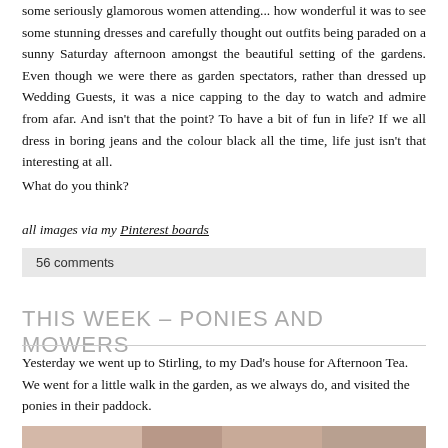some seriously glamorous women attending... how wonderful it was to see some stunning dresses and carefully thought out outfits being paraded on a sunny Saturday afternoon amongst the beautiful setting of the gardens. Even though we were there as garden spectators, rather than dressed up Wedding Guests, it was a nice capping to the day to watch and admire from afar. And isn't that the point? To have a bit of fun in life? If we all dress in boring jeans and the colour black all the time, life just isn't that interesting at all.
What do you think?
all images via my Pinterest boards
56 comments
THIS WEEK – PONIES AND MOWERS
Yesterday we went up to Stirling, to my Dad's house for Afternoon Tea. We went for a little walk in the garden, as we always do, and visited the ponies in their paddock.
[Figure (photo): Partial photo strip visible at bottom of page, appears to show an outdoor/nature scene]